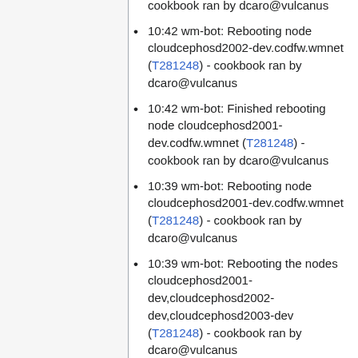dev.codfw.wmnet (T281248) - cookbook ran by dcaro@vulcanus
10:42 wm-bot: Rebooting node cloudcephosd2002-dev.codfw.wmnet (T281248) - cookbook ran by dcaro@vulcanus
10:42 wm-bot: Finished rebooting node cloudcephosd2001-dev.codfw.wmnet (T281248) - cookbook ran by dcaro@vulcanus
10:39 wm-bot: Rebooting node cloudcephosd2001-dev.codfw.wmnet (T281248) - cookbook ran by dcaro@vulcanus
10:39 wm-bot: Rebooting the nodes cloudcephosd2001-dev,cloudcephosd2002-dev,cloudcephosd2003-dev (T281248) - cookbook ran by dcaro@vulcanus